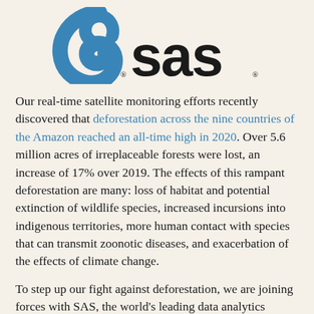[Figure (logo): SAS logo with blue swirl icon on the left and 'sas' wordmark in black on the right, with registered trademark symbols]
Our real-time satellite monitoring efforts recently discovered that deforestation across the nine countries of the Amazon reached an all-time high in 2020. Over 5.6 million acres of irreplaceable forests were lost, an increase of 17% over 2019. The effects of this rampant deforestation are many: loss of habitat and potential extinction of wildlife species, increased incursions into indigenous territories, more human contact with species that can transmit zoonotic diseases, and exacerbation of the effects of climate change.
To step up our fight against deforestation, we are joining forces with SAS, the world's leading data analytics software developers. Through SAS' global